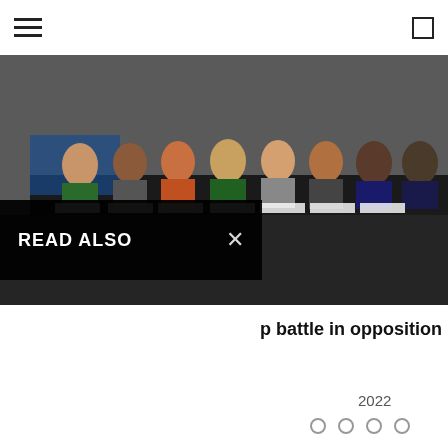Navigation bar with hamburger menu and icon
[Figure (photo): Group of people seated at a long conference table with name placards, in a formal meeting or panel setting.]
READ ALSO
p battle in opposition
2022
[Figure (other): Four circular navigation dots]